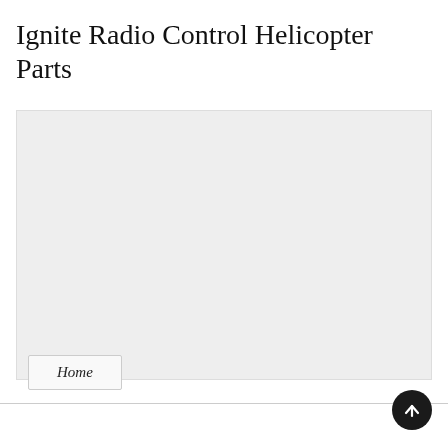Ignite Radio Control Helicopter Parts
[Figure (other): Large light grey placeholder image area for product or content image]
Home